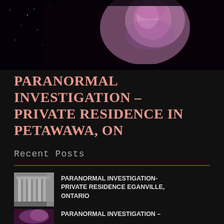[Figure (photo): Night vision or infrared photo showing a person, tinted purple/pink, dark curtain or background with sparkle/glitter effects]
PARANORMAL INVESTIGATION – PRIVATE RESIDENCE IN PETAWAWA, ON
Recent Posts
[Figure (photo): Small thumbnail photo of interior staircase in black and white]
PARANORMAL INVESTIGATION- PRIVATE RESIDENCE EGANVILLE, ONTARIO
[Figure (photo): Small thumbnail photo with purple/pink tint, partial view]
PARANORMAL INVESTIGATION –